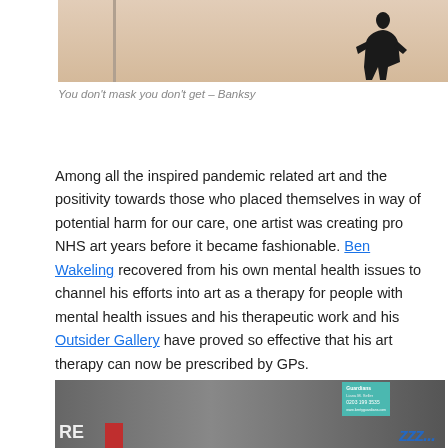[Figure (photo): Top portion of a Banksy-style artwork showing a figure silhouette on a light beige background]
You don't mask you don't get – Banksy
Among all the inspired pandemic related art and the positivity towards those who placed themselves in way of potential harm for our care, one artist was creating pro NHS art years before it became fashionable. Ben Wakeling recovered from his own mental health issues to channel his efforts into art as a therapy for people with mental health issues and his therapeutic work and his Outsider Gallery have proved so effective that his art therapy can now be prescribed by GPs.
[Figure (photo): Bottom portion of a street scene showing a shopfront with gray shutters, blue graffiti, a teal Guardians sign, and partial red and white signage on the left]